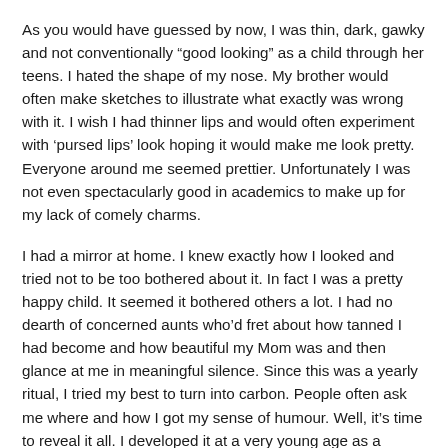As you would have guessed by now, I was thin, dark, gawky and not conventionally “good looking” as a child through her teens. I hated the shape of my nose. My brother would often make sketches to illustrate what exactly was wrong with it. I wish I had thinner lips and would often experiment with ‘pursed lips’ look hoping it would make me look pretty. Everyone around me seemed prettier. Unfortunately I was not even spectacularly good in academics to make up for my lack of comely charms.
I had a mirror at home. I knew exactly how I looked and tried not to be too bothered about it. In fact I was a pretty happy child. It seemed it bothered others a lot. I had no dearth of concerned aunts who’d fret about how tanned I had become and how beautiful my Mom was and then glance at me in meaningful silence. Since this was a yearly ritual, I tried my best to turn into carbon. People often ask me where and how I got my sense of humour. Well, it’s time to reveal it all. I developed it at a very young age as a defence tactic. I used it to counter hurt. When on a sunny lazy vacation afternoon an aunt told me that I’d get married only because I had